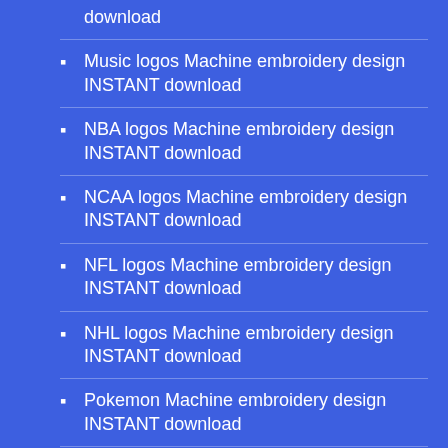download
Music logos Machine embroidery design INSTANT download
NBA logos Machine embroidery design INSTANT download
NCAA logos Machine embroidery design INSTANT download
NFL logos Machine embroidery design INSTANT download
NHL logos Machine embroidery design INSTANT download
Pokemon Machine embroidery design INSTANT download
Scull Machine embroidery design INSTANT download
Super hero embroidery
Super Hero Machine embroidery design INSTANT download